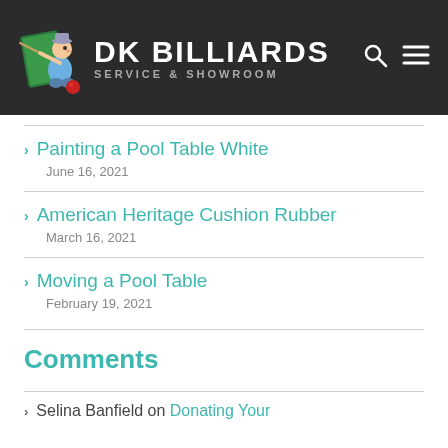DK BILLIARDS SERVICE & SHOWROOM
Painting a Pool Table White — June 16, 2021
American Heritage Cushion Rubber — March 16, 2021
Moving a Pool Table — February 19, 2021
Comments
Selina Banfield on Donating Your